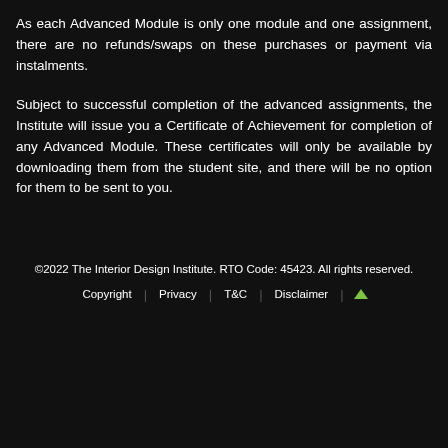As each Advanced Module is only one module and one assignment, there are no refunds/swaps on these purchases or payment via instalments.
Subject to successful completion of the advanced assignments, the Institute will issue you a Certificate of Achievement for completion of any Advanced Module. These certificates will only be available by downloading them from the student site, and there will be no option for them to be sent to you.
©2022 The Interior Design Institute. RTO Code: 45423. All rights reserved.
Copyright | Privacy | T&C | Disclaimer | ↑